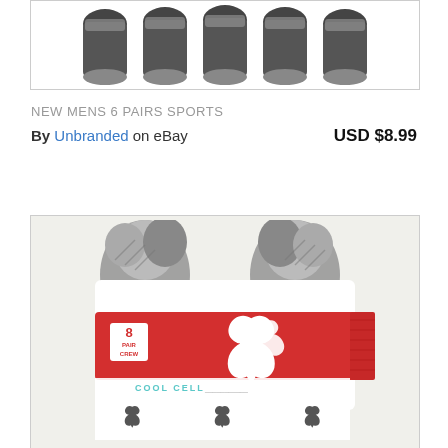[Figure (photo): Top portion of a product image showing multiple pairs of dark gray/black sports socks arranged side by side in a row, displayed against a white background inside a bordered box.]
NEW MENS 6 PAIRS SPORTS
By Unbranded on eBay  USD $8.99
[Figure (photo): A package of Puma 8-pair crew socks. The package shows gray socks folded at top, wrapped with a red Puma branded band showing '8 PAIR CREW' label and Puma cat logo. Below the band is a white area showing additional Puma logos.]